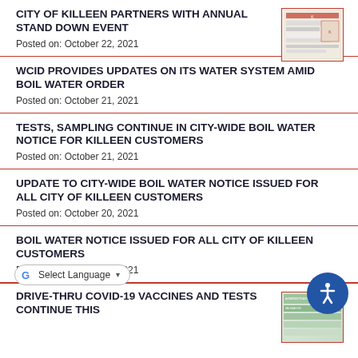CITY OF KILLEEN PARTNERS WITH ANNUAL STAND DOWN EVENT
Posted on: October 22, 2021
WCID PROVIDES UPDATES ON ITS WATER SYSTEM AMID BOIL WATER ORDER
Posted on: October 21, 2021
TESTS, SAMPLING CONTINUE IN CITY-WIDE BOIL WATER NOTICE FOR KILLEEN CUSTOMERS
Posted on: October 21, 2021
UPDATE TO CITY-WIDE BOIL WATER NOTICE ISSUED FOR ALL CITY OF KILLEEN CUSTOMERS
Posted on: October 20, 2021
BOIL WATER NOTICE ISSUED FOR ALL CITY OF KILLEEN CUSTOMERS
Posted on: October 19, 2021
DRIVE-THRU COVID-19 VACCINES AND TESTS CONTINUE THIS